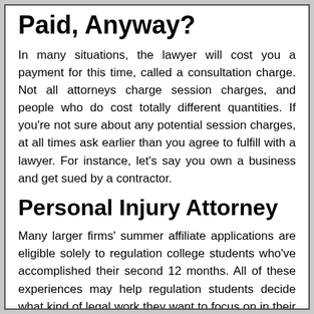Paid, Anyway?
In many situations, the lawyer will cost you a payment for this time, called a consultation charge. Not all attorneys charge session charges, and people who do cost totally different quantities. If you're not sure about any potential session charges, at all times ask earlier than you agree to fulfill with a lawyer. For instance, let's say you own a business and get sued by a contractor.
Personal Injury Attorney
Many larger firms' summer affiliate applications are eligible solely to regulation college students who've accomplished their second 12 months. All of these experiences may help regulation students decide what kind of legal work they want to focus on in their careers and may lead on to a job after